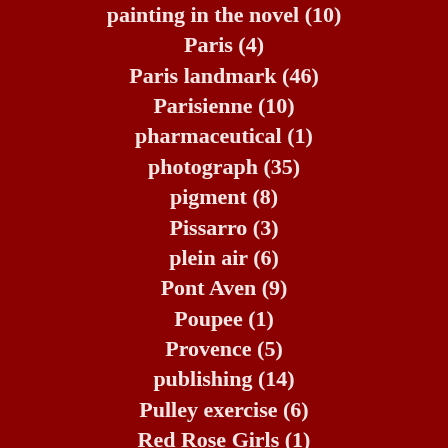painting in the novel (10)
Paris (4)
Paris landmark (46)
Parisienne (10)
pharmaceutical (1)
photograph (35)
pigment (8)
Pissarro (3)
plein air (6)
Pont Aven (9)
Poupee (1)
Provence (5)
publishing (14)
Pulley exercise (6)
Red Rose Girls (1)
Regnault (2)
Rembrandt (2)
Renicks (5)
renoir (4)